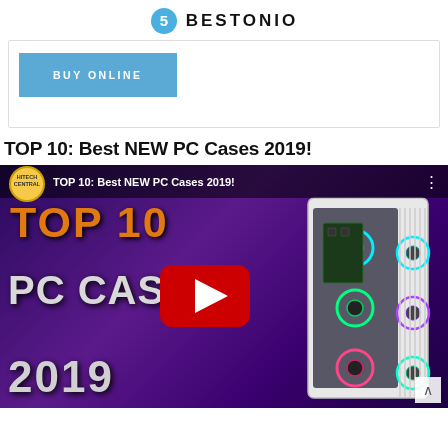BESTONIO
[Figure (screenshot): Blue BUY ONLINE button inside a white card with border]
TOP 10: Best NEW PC Cases 2019!
[Figure (screenshot): YouTube video thumbnail for TOP 10: Best NEW PC Cases 2019! by Hitech Central, showing a white PC case with RGB fans on a purple background, with YouTube play button overlay]